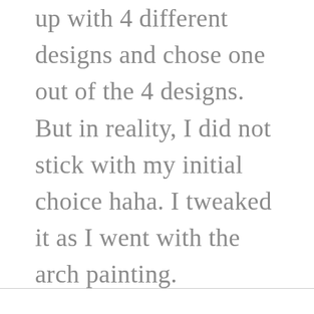up with 4 different designs and chose one out of the 4 designs. But in reality, I did not stick with my initial choice haha. I tweaked it as I went with the arch painting.